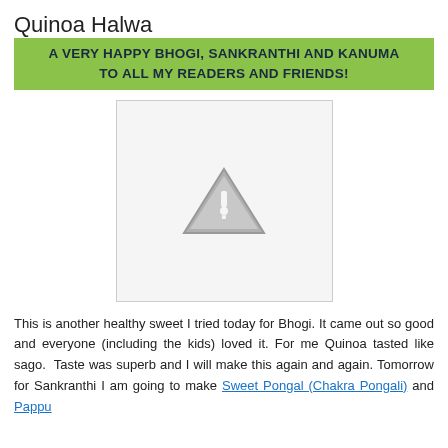Quinoa Halwa
A VERY HAPPY BHOGI, SANKRANTHI AND KANUMA TO ALL MY READERS AND FRIENDS!
[Figure (other): Image placeholder with warning triangle icon indicating missing or unavailable image]
This is another healthy sweet I tried today for Bhogi. It came out so good and everyone (including the kids) loved it. For me Quinoa tasted like sago. Taste was superb and I will make this again and again. Tomorrow for Sankranthi I am going to make Sweet Pongal (Chakra Pongali) and Pappu